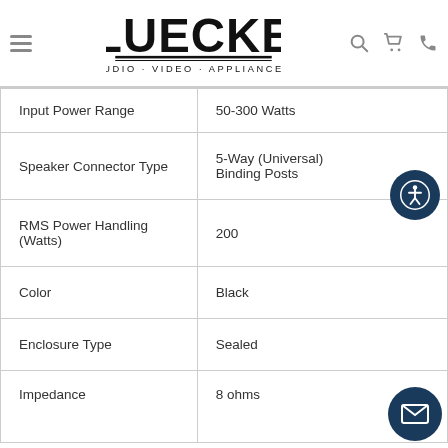Luecke Audio Video Appliances
| Specification | Value |
| --- | --- |
| Input Power Range | 50-300 Watts |
| Speaker Connector Type | 5-Way (Universal) Binding Posts |
| RMS Power Handling (Watts) | 200 |
| Color | Black |
| Enclosure Type | Sealed |
| Impedance | 8 ohms |